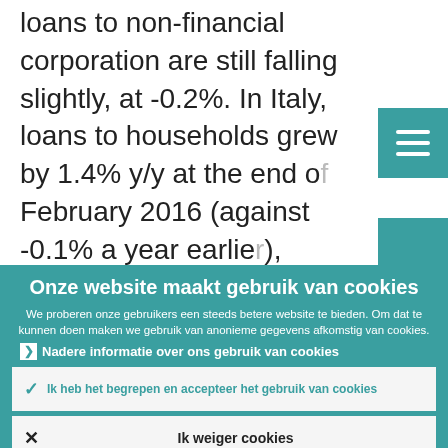loans to non-financial corporation are still falling slightly, at -0.2%. In Italy, loans to households grew by 1.4% y/y at the end of February 2016 (against -0.1% a year earlier),
Onze website maakt gebruik van cookies
We proberen onze gebruikers een steeds betere website te bieden. Om dat te kunnen doen maken we gebruik van anonieme gegevens afkomstig van cookies.
Nadere informatie over ons gebruik van cookies
Ik heb het begrepen en accepteer het gebruik van cookies
Ik weiger cookies